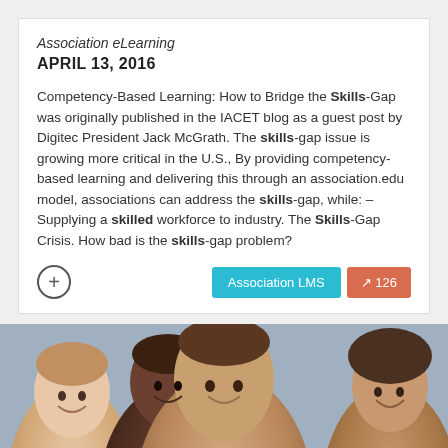Association eLearning
APRIL 13, 2016
Competency-Based Learning: How to Bridge the Skills-Gap was originally published in the IACET blog as a guest post by Digitec President Jack McGrath. The skills-gap issue is growing more critical in the U.S., By providing competency-based learning and delivering this through an association.edu model, associations can address the skills-gap, while: – Supplying a skilled workforce to industry. The Skills-Gap Crisis. How bad is the skills-gap problem?
[Figure (photo): Group photo of diverse smiling professionals, with a man in the center foreground and three others behind him]
Association LMS
126